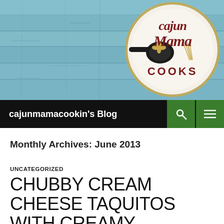[Figure (logo): Cajun Mama Cooks logo — circular emblem with a skillet, fleur-de-lis, and cursive text on a light blue painted wood background]
cajunmamacookin's Blog
Monthly Archives: June 2013
UNCATEGORIZED
CHUBBY CREAM CHEESE TAQUITOS WITH CREAMY